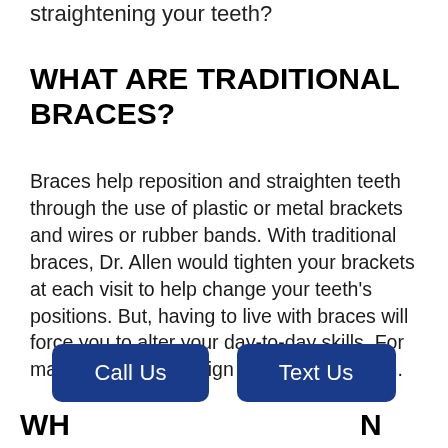straightening your teeth?
WHAT ARE TRADITIONAL BRACES?
Braces help reposition and straighten teeth through the use of plastic or metal brackets and wires or rubber bands. With traditional braces, Dr. Allen would tighten your brackets at each visit to help change your teeth's positions. But, having to live with braces will force you to alter your day-to-day skills. For many people, Invisalign is a better solution.
Call Us
Text Us
WH… VI… N